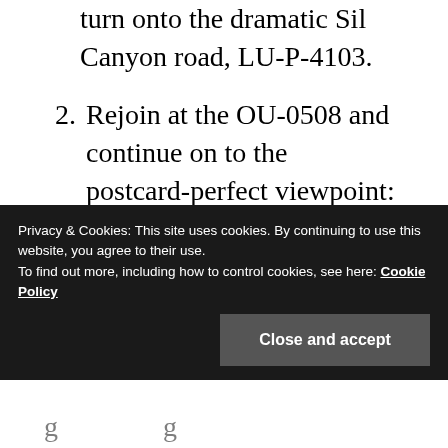turn onto the dramatic Sil Canyon road, LU-P-4103.
2. Rejoin at the OU-0508 and continue on to the postcard-perfect viewpoint: Mirador de Vilouxe.
3. Take the LU-903, which heads through the verdant green depths of the DO Ribeira Sacra wine-lands. Keep your eyes peeled for
Privacy & Cookies: This site uses cookies. By continuing to use this website, you agree to their use.
To find out more, including how to control cookies, see here: Cookie Policy
Close and accept